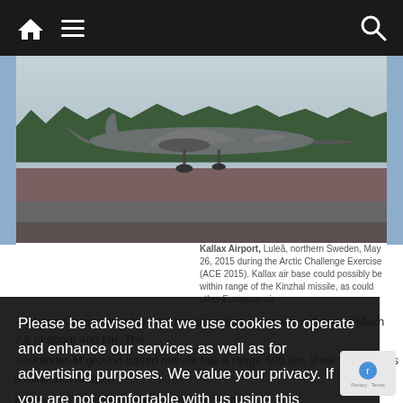Navigation bar with home, menu, and search icons
[Figure (photo): Military jet aircraft (Saab Gripen) taking off or landing at Kallax Airport, Luleå, northern Sweden, May 26 2015 during the Arctic Challenge Exercise (ACE 2015). Forest and airport buildings visible in background.]
Kallax Airport, Luleå, northern Sweden, May 26, 2015 during the Arctic Challenge Exercise (ACE 2015). Kallax air base could possibly be within range of the Kinzhal missile, as could other European air
Wikipedia says the MiG-31K has a combat range when flying at Mach 2,8 of about 400 km. The
Iskander-M ground-based missile has a range 500 km. If we take that as a minimum range of Kinzhal, the missile's target destruction range ….
Please be advised that we use cookies to operate and enhance our services as well as for advertising purposes. We value your privacy. If you are not comfortable with us using this information, please review your settings before continuing your visit.
Manage your navigation settings
Find out more